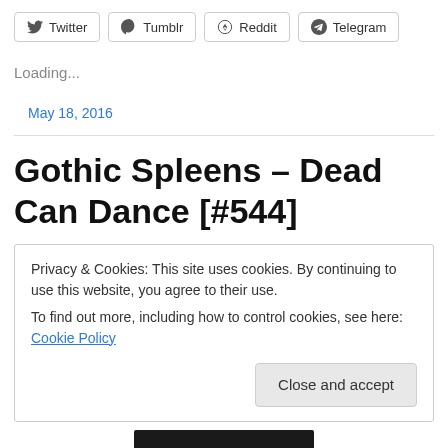Twitter  Tumblr  Reddit  Telegram
Loading...
May 18, 2016
Gothic Spleens – Dead Can Dance [#544]
Privacy & Cookies: This site uses cookies. By continuing to use this website, you agree to their use.
To find out more, including how to control cookies, see here: Cookie Policy
Close and accept